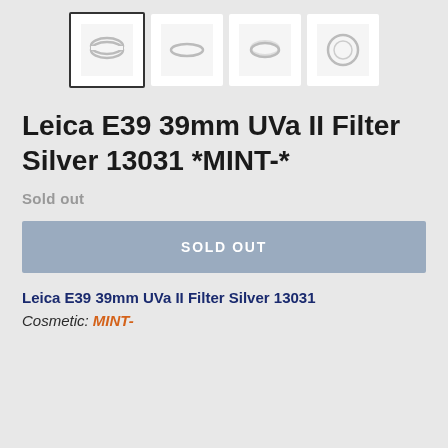[Figure (photo): Four thumbnail images of a Leica E39 UV filter, showing different angles: angled side view, front ring view, oblique ring, and straight-on circle view. First thumbnail is highlighted with a border.]
Leica E39 39mm UVa II Filter Silver 13031 *MINT-*
Sold out
SOLD OUT
Leica E39 39mm UVa II Filter Silver 13031
Cosmetic: MINT-